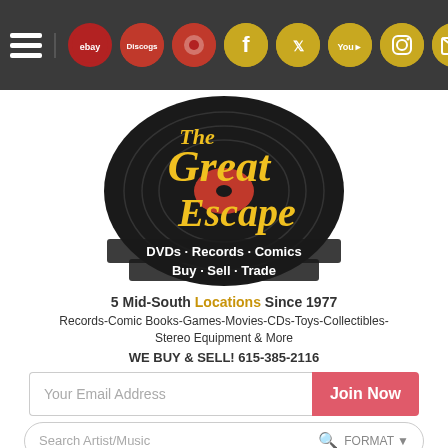[Figure (screenshot): Navigation bar with hamburger menu, eBay, Discogs, and social media icons (Facebook, Twitter, YouTube, Instagram, Email) on dark grey background]
[Figure (logo): The Great Escape logo: black vinyl record with gold script text 'The Great Escape' and white text 'DVDs - Records - Comics, Buy - Sell - Trade']
5 Mid-South Locations Since 1977
Records-Comic Books-Games-Movies-CDs-Toys-Collectibles-Stereo Equipment & More
WE BUY & SELL! 615-385-2116
[Figure (screenshot): Email signup field with placeholder 'Your Email Address' and a pink 'Join Now' button]
[Figure (screenshot): Search bar with placeholder 'Search Artist/Music', magnifying glass icon, and FORMAT dropdown on the right]
[Figure (screenshot): Gold back-to-top button (chevron up) positioned bottom right, above a dark starfield image strip at the bottom]